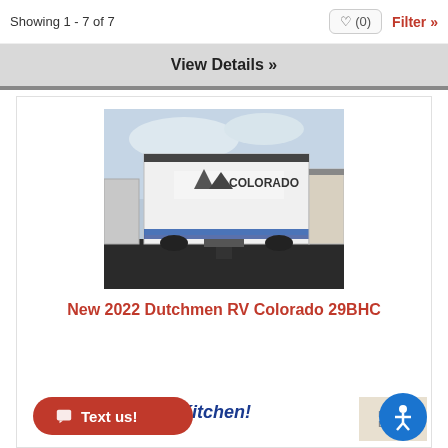Showing 1 - 7 of 7
(0)
Filter »
View Details »
[Figure (photo): Front view of a white Dutchmen RV Colorado travel trailer parked outdoors with overcast sky]
New 2022 Dutchmen RV Colorado 29BHC
Outside Kitchen!
2274
Length: 33 ft 3 in
Text us!